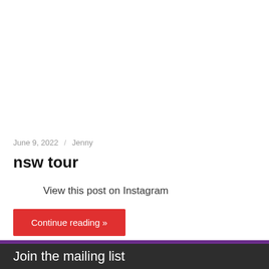June 9, 2022 / Jenny
nsw tour
View this post on Instagram
Continue reading »
Join the mailing list